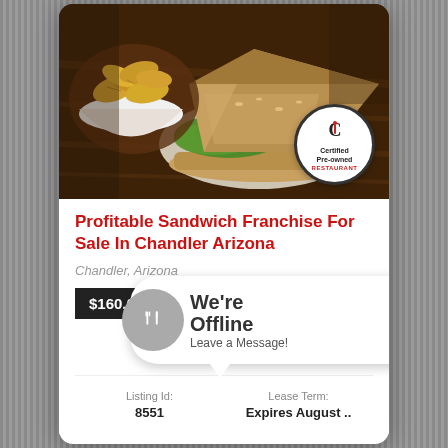[Figure (photo): Food photo showing a club sandwich with lettuce on a wooden board, with a bowl of chips/crisps in the background. A 'Certified Pre-owned Restaurant' circular badge appears in the bottom right.]
Profitable Sandwich Franchise For Sale In Chandler Arizona
Chandler, Arizona
$160,000
[Figure (infographic): We're Offline - Leave a Message! chat bubble overlay with restaurant icon]
| Listing Id: | Lease Term: |
| --- | --- |
| 8551 | Expires August .. |